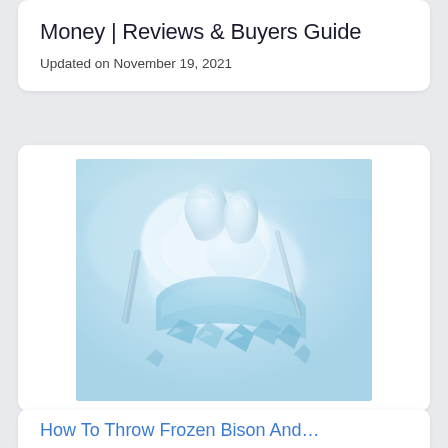Money | Reviews & Buyers Guide
Updated on November 19, 2021
[Figure (photo): Close-up photograph with blue tint of dental work or tooth model, possibly showing a tooth extraction or dental procedure with icy/frosty appearance]
How To Throw Frozen Bison And…